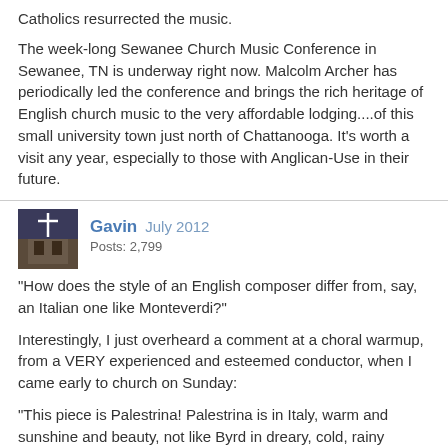Catholics resurrected the music.
The week-long Sewanee Church Music Conference in Sewanee, TN is underway right now. Malcolm Archer has periodically led the conference and brings the rich heritage of English church music to the very affordable lodging....of this small university town just north of Chattanooga. It's worth a visit any year, especially to those with Anglican-Use in their future.
Gavin  July 2012
Posts: 2,799
"How does the style of an English composer differ from, say, an Italian one like Monteverdi?"
Interestingly, I just overheard a comment at a choral warmup, from a VERY experienced and esteemed conductor, when I came early to church on Sunday:
"This piece is Palestrina! Palestrina is in Italy, warm and sunshine and beauty, not like Byrd in dreary, cold, rainy England!"
For what it's worth.
Gavin  July 2012
Posts: 2,799